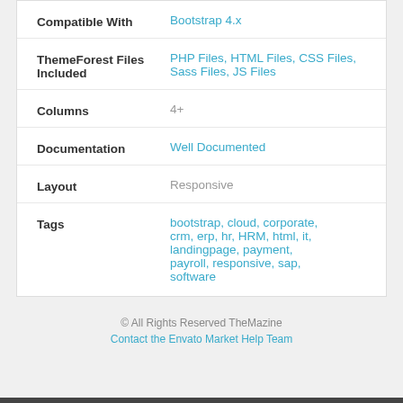| Label | Value |
| --- | --- |
| Compatible With | Bootstrap 4.x |
| ThemeForest Files Included | PHP Files, HTML Files, CSS Files, Sass Files, JS Files |
| Columns | 4+ |
| Documentation | Well Documented |
| Layout | Responsive |
| Tags | bootstrap, cloud, corporate, crm, erp, hr, HRM, html, it, landingpage, payment, payroll, responsive, sap, software |
© All Rights Reserved TheMazine
Contact the Envato Market Help Team